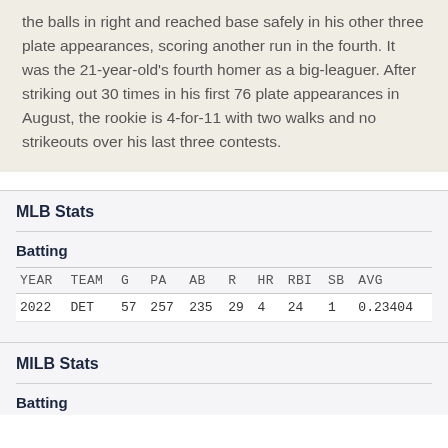the balls in right and reached base safely in his other three plate appearances, scoring another run in the fourth. It was the 21-year-old's fourth homer as a big-leaguer. After striking out 30 times in his first 76 plate appearances in August, the rookie is 4-for-11 with two walks and no strikeouts over his last three contests.
MLB Stats
Batting
| YEAR | TEAM | G | PA | AB | R | HR | RBI | SB | AVG |
| --- | --- | --- | --- | --- | --- | --- | --- | --- | --- |
| 2022 | DET | 57 | 257 | 235 | 29 | 4 | 24 | 1 | 0.23404 |
MILB Stats
Batting